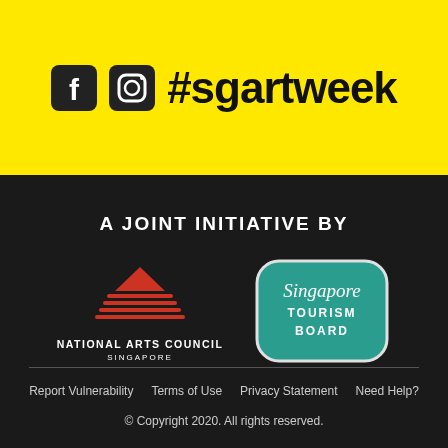[Figure (logo): Facebook and Instagram social media icons with #sgartweek hashtag on yellow background]
A JOINT INITIATIVE BY
[Figure (logo): National Arts Council Singapore logo - red striped mountain/wave graphic with text NATIONAL ARTS COUNCIL SINGAPORE]
[Figure (logo): Singapore Tourism Board logo - teal rounded rectangle badge with cursive Singapore and TOURISM BOARD text]
Report Vulnerability   Terms of Use   Privacy Statement   Need Help?
© Copyright 2020. All rights reserved.